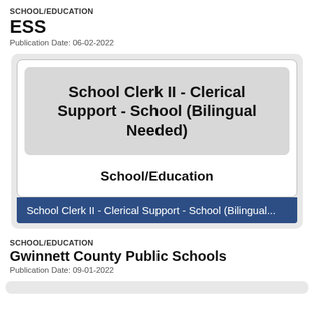SCHOOL/EDUCATION
ESS
Publication Date: 06-02-2022
[Figure (infographic): Job posting card with gray rounded box containing title 'School Clerk II - Clerical Support - School (Bilingual Needed)', category label 'School/Education', and a dark blue bar reading 'School Clerk II - Clerical Support - School (Bilingual...']
SCHOOL/EDUCATION
Gwinnett County Public Schools
Publication Date: 09-01-2022